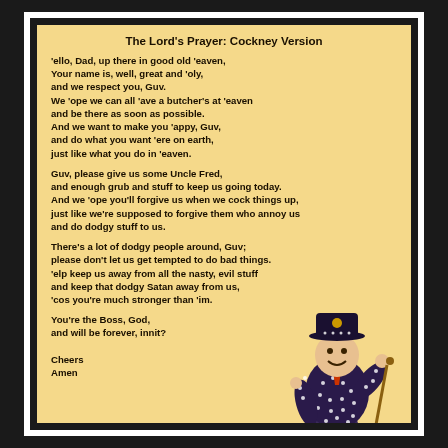The Lord's Prayer: Cockney Version
'ello, Dad, up there in good old 'eaven,
Your name is, well, great and 'oly,
and we respect you, Guv.
We 'ope we can all 'ave a butcher's at 'eaven
and be there as soon as possible.
And we want to make you 'appy, Guv,
and do what you want 'ere on earth,
just like what you do in 'eaven.
Guv, please give us some Uncle Fred,
and enough grub and stuff to keep us going today.
And we 'ope you'll forgive us when we cock things up,
just like we're supposed to forgive them who annoy us
and do dodgy stuff to us.
There's a lot of dodgy people around, Guv;
please don't let us get tempted to do bad things.
'elp keep us away from all the nasty, evil stuff
and keep that dodgy Satan away from us,
'cos you're much stronger than 'im.
You're the Boss, God,
and will be forever, innit?

Cheers
Amen
[Figure (photo): A ceramic figurine of a Cockney Pearly King character in a decorated suit with white buttons, wearing a hat and holding a cane.]